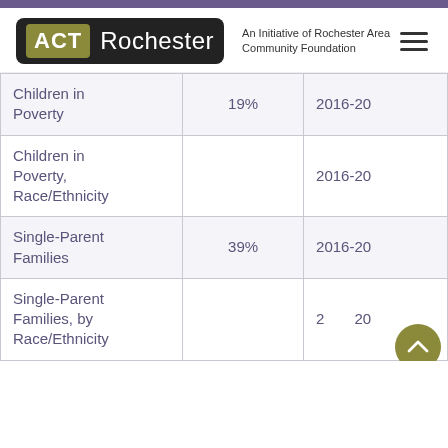ACT Rochester — An Initiative of Rochester Area Community Foundation
|  |  |  |
| --- | --- | --- |
| Children in Poverty | 19% | 2016-20 |
| Children in Poverty, Race/Ethnicity |  | 2016-20 |
| Single-Parent Families | 39% | 2016-20 |
| Single-Parent Families, by Race/Ethnicity |  | 2016-20 |